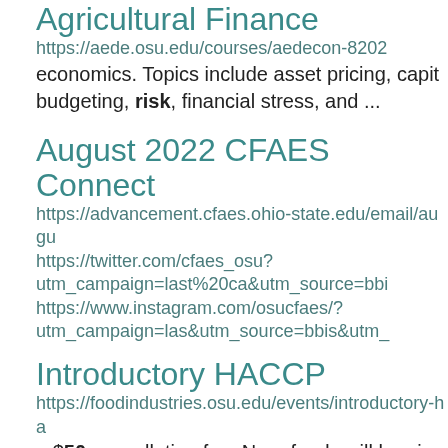Agricultural Finance
https://aede.osu.edu/courses/aedecon-8202
economics. Topics include asset pricing, capit budgeting, risk, financial stress, and ...
August 2022 CFAES Connect
https://advancement.cfaes.ohio-state.edu/email/augu https://twitter.com/cfaes_osu?utm_campaign=last%20ca&utm_source=bbi https://www.instagram.com/osucfaes/?utm_campaign=las&utm_source=bbis&utm_
Introductory HACCP
https://foodindustries.osu.edu/events/introductory-ha a $50 cancellation fee. No refunds will be giv